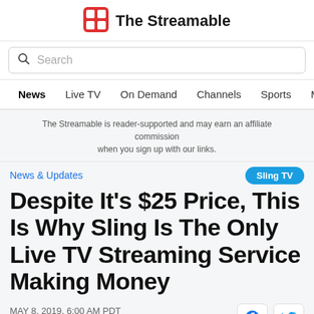The Streamable
Search
News  Live TV  On Demand  Channels  Sports  Movies
The Streamable is reader-supported and may earn an affiliate commission when you sign up with our links.
News & Updates
Sling TV
Despite It’s $25 Price, This Is Why Sling Is The Only Live TV Streaming Service Making Money
MAY 8, 2019, 6:00 AM PDT
Jason Gurwin